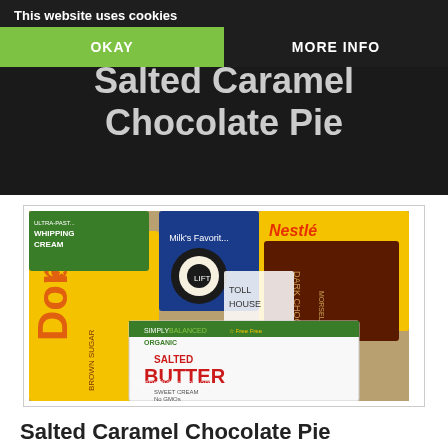[Figure (screenshot): Dark hero background with 'Salted Caramel Chocolate Pie' title text partially visible]
[Figure (photo): Photo of baking ingredients on a counter: Domino brown sugar, whipping cream, Oreos, Nestle Toll House Dark Chocolate Morsels, Simply Balanced Organic Salted Butter. Watermark: mythriftyhouse.com]
This website uses cookies | OKAY | MORE INFO
Salted Caramel Chocolate Pie
Ingredients
one package Oreo cookies (or cheat and buy a premade...